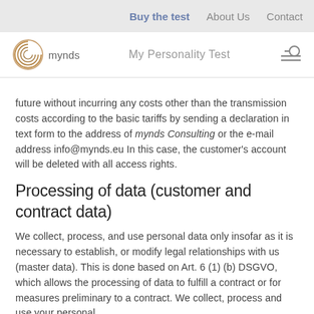Buy the test   About Us   Contact
mynds   My Personality Test
future without incurring any costs other than the transmission costs according to the basic tariffs by sending a declaration in text form to the address of mynds Consulting or the e-mail address info@mynds.eu In this case, the customer's account will be deleted with all access rights.
Processing of data (customer and contract data)
We collect, process, and use personal data only insofar as it is necessary to establish, or modify legal relationships with us (master data). This is done based on Art. 6 (1) (b) DSGVO, which allows the processing of data to fulfill a contract or for measures preliminary to a contract. We collect, process and use your personal